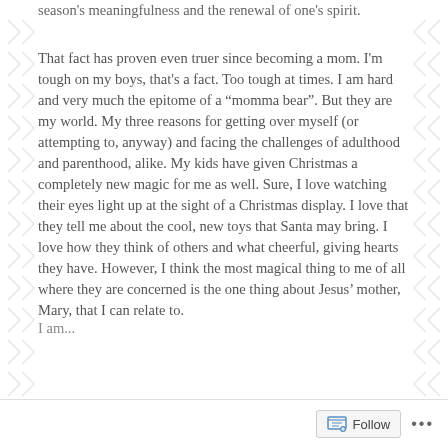season's meaningfulness and the renewal of one's spirit.
That fact has proven even truer since becoming a mom. I'm tough on my boys, that's a fact. Too tough at times. I am hard and very much the epitome of a “momma bear”. But they are my world. My three reasons for getting over myself (or attempting to, anyway) and facing the challenges of adulthood and parenthood, alike. My kids have given Christmas a completely new magic for me as well. Sure, I love watching their eyes light up at the sight of a Christmas display. I love that they tell me about the cool, new toys that Santa may bring. I love how they think of others and what cheerful, giving hearts they have. However, I think the most magical thing to me of all where they are concerned is the one thing about Jesus’ mother, Mary, that I can relate to.
I am...
Follow ...